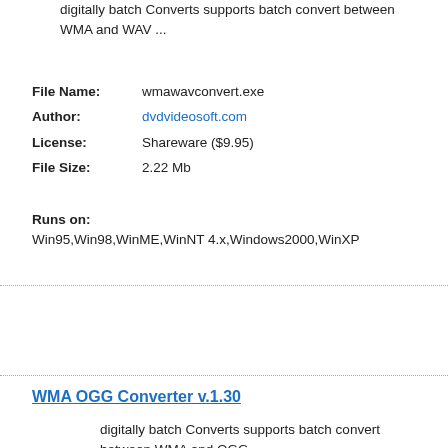digitally batch Converts supports batch convert between WMA and WAV ...
File Name: wmawavconvert.exe
Author: dvdvideosoft.com
License: Shareware ($9.95)
File Size: 2.22 Mb
Runs on: Win95,Win98,WinME,WinNT 4.x,Windows2000,WinXP
WMA OGG Converter  v.1.30
digitally batch Converts supports batch convert between WMA and OGG ...